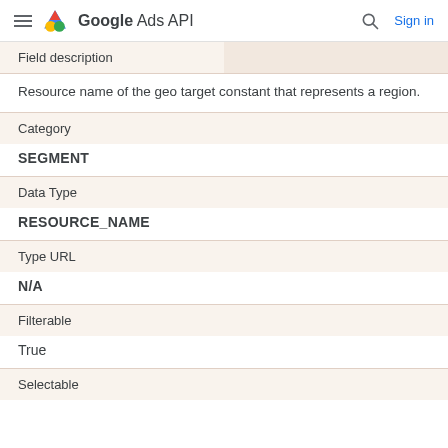Google Ads API — Sign in
| Field description |  |
| --- | --- |
| Resource name of the geo target constant that represents a region. |  |
| Category |  |
| SEGMENT |  |
| Data Type |  |
| RESOURCE_NAME |  |
| Type URL |  |
| N/A |  |
| Filterable |  |
| True |  |
| Selectable |  |